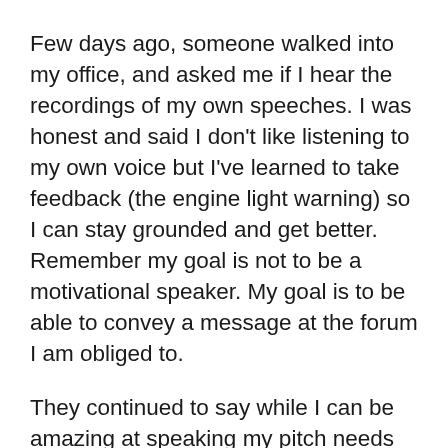Few days ago, someone walked into my office, and asked me if I hear the recordings of my own speeches. I was honest and said I don't like listening to my own voice but I've learned to take feedback (the engine light warning) so I can stay grounded and get better. Remember my goal is not to be a motivational speaker. My goal is to be able to convey a message at the forum I am obliged to.
They continued to say while I can be amazing at speaking my pitch needs work and I speak too fast to the point that it is difficult to understand. Sounds like a compliment or feedback somewhat but truly neither. After saying that, they left. Just like a hit-and-run, they came in unsolicited, threw